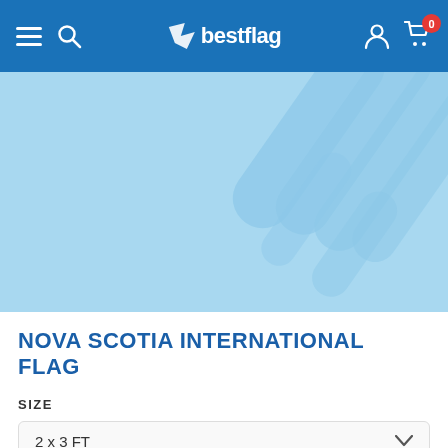bestflag — navigation bar with hamburger menu, search, logo, account, and cart (0 items)
[Figure (illustration): Light blue hero/banner area with decorative diagonal stripe pattern in slightly darker blue on the right side, representing a product placeholder image area for Nova Scotia International Flag]
NOVA SCOTIA INTERNATIONAL FLAG
SIZE
2 x 3 FT